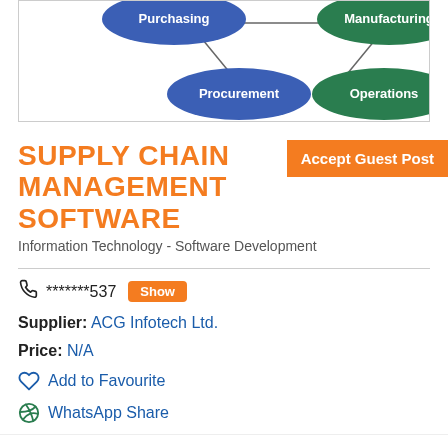[Figure (other): Partial view of a supply chain management diagram showing ellipses labeled Purchasing, Manufacturing, Procurement, Operations with connecting lines]
SUPPLY CHAIN MANAGEMENT SOFTWARE
Accept Guest Post
Information Technology - Software Development
*******537 Show
Supplier: ACG Infotech Ltd.
Price: N/A
Add to Favourite
WhatsApp Share